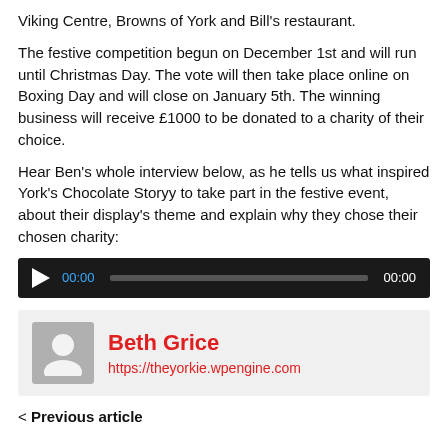Viking Centre, Browns of York and Bill's restaurant.
The festive competition begun on December 1st and will run until Christmas Day. The vote will then take place online on Boxing Day and will close on January 5th. The winning business will receive £1000 to be donated to a charity of their choice.
Hear Ben's whole interview below, as he tells us what inspired York's Chocolate Storyy to take part in the festive event, about their display's theme and explain why they chose their chosen charity:
[Figure (other): Audio player widget with play button, 00:00 start time, progress bar, and 00:00 end time on dark background]
Beth Grice
https://theyorkie.wpengine.com
< Previous article